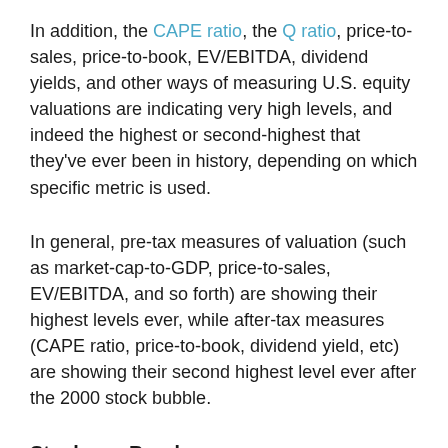In addition, the CAPE ratio, the Q ratio, price-to-sales, price-to-book, EV/EBITDA, dividend yields, and other ways of measuring U.S. equity valuations are indicating very high levels, and indeed the highest or second-highest that they've ever been in history, depending on which specific metric is used.
In general, pre-tax measures of valuation (such as market-cap-to-GDP, price-to-sales, EV/EBITDA, and so forth) are showing their highest levels ever, while after-tax measures (CAPE ratio, price-to-book, dividend yield, etc) are showing their second highest level ever after the 2000 stock bubble.
Stocks vs Bonds